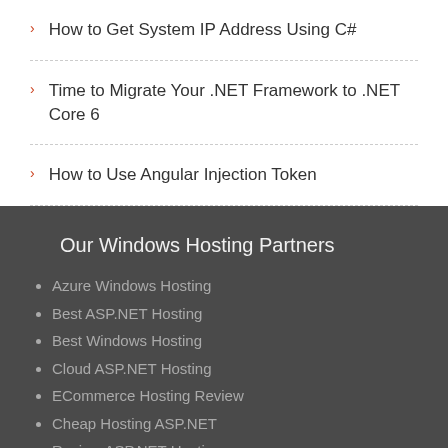How to Get System IP Address Using C#
Time to Migrate Your .NET Framework to .NET Core 6
How to Use Angular Injection Token
Our Windows Hosting Partners
Azure Windows Hosting
Best ASP.NET Hosting
Best Windows Hosting
Cloud ASP.NET Hosting
ECommerce Hosting Review
Cheap Hosting ASP.NET
Review ASP.NET Hosting
Windows Hosting Bulletin
Windows Hosting Leaders